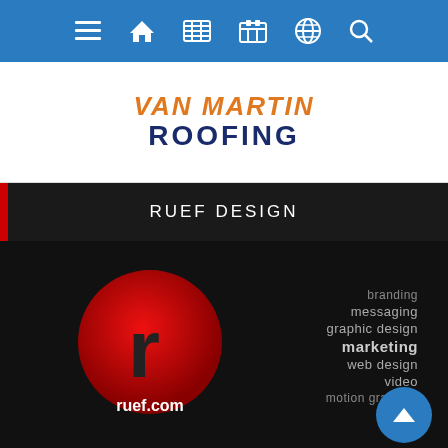Navigation bar with menu, home, grid, calendar, globe, and search icons
[Figure (logo): Van Martin Roofing logo — VAN MARTIN in orange italic bold, ROOFING in dark blue bold]
RUEF DESIGN
[Figure (photo): Ruef Design advertisement on dark background: red circle with lowercase r, ruef.com text below, services listed: branding, messaging, graphic design, marketing, web design, video, motion graphics]
Upcoming Events in Dayton